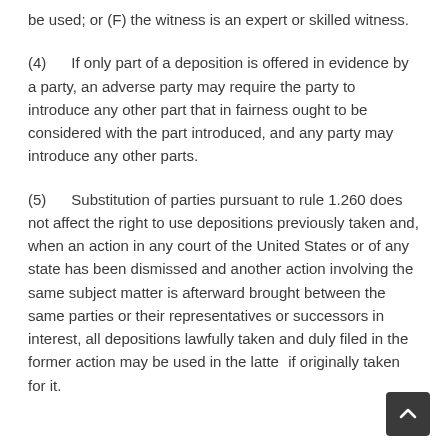be used; or (F) the witness is an expert or skilled witness.
(4)      If only part of a deposition is offered in evidence by a party, an adverse party may require the party to introduce any other part that in fairness ought to be considered with the part introduced, and any party may introduce any other parts.
(5)      Substitution of parties pursuant to rule 1.260 does not affect the right to use depositions previously taken and, when an action in any court of the United States or of any state has been dismissed and another action involving the same subject matter is afterward brought between the same parties or their representatives or successors in interest, all depositions lawfully taken and duly filed in the former action may be used in the latter if originally taken for it.